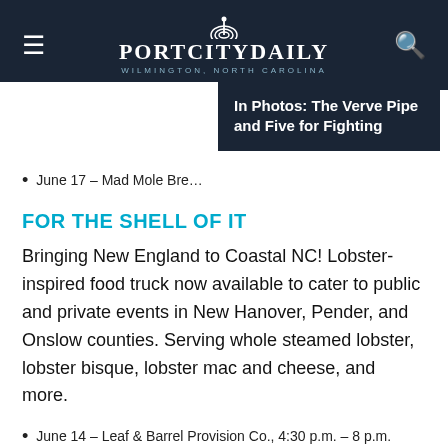PORT CITY DAILY WILMINGTON, NORTH CAROLINA
In Photos: The Verve Pipe and Five for Fighting
June 17 – Mad Mole Bre…
FOR THE SHELL OF IT
Bringing New England to Coastal NC! Lobster-inspired food truck now available to cater to public and private events in New Hanover, Pender, and Onslow counties. Serving whole steamed lobster, lobster bisque, lobster mac and cheese, and more.
June 14 – Leaf & Barrel Provision Co., 4:30 p.m. – 8 p.m.